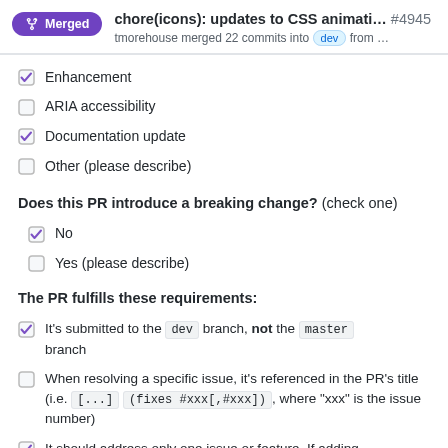chore(icons): updates to CSS animati... #4945 — tmorehouse merged 22 commits into dev from ...
Enhancement (checked)
ARIA accessibility (unchecked)
Documentation update (checked)
Other (please describe) (unchecked)
Does this PR introduce a breaking change? (check one)
No (checked)
Yes (please describe) (unchecked)
The PR fulfills these requirements:
It's submitted to the dev branch, not the master branch (checked)
When resolving a specific issue, it's referenced in the PR's title (i.e. [...] (fixes #xxx[,#xxx]), where "xxx" is the issue number) (unchecked)
It should address only one issue or feature. If adding (checked, cut off)